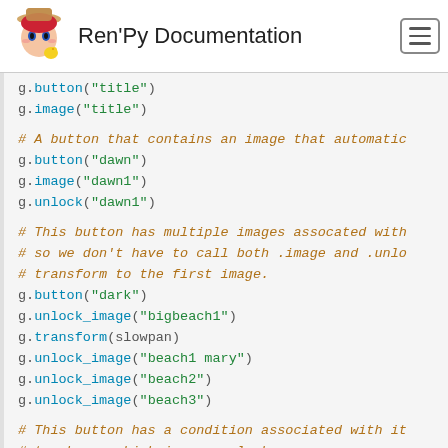Ren'Py Documentation
g.button("title")
g.image("title")

# A button that contains an image that automatic
g.button("dawn")
g.image("dawn1")
g.unlock("dawn1")

# This button has multiple images assocated with
# so we don't have to call both .image and .unlo
# transform to the first image.
g.button("dark")
g.unlock_image("bigbeach1")
g.transform(slowpan)
g.unlock_image("beach1 mary")
g.unlock_image("beach2")
g.unlock_image("beach3")

# This button has a condition associated with it
# to choose which images unlock.
g.button("end1")
g.condition("persistent.unlock_1")